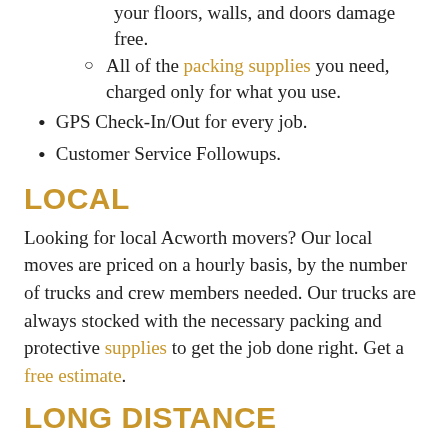All available protective coverings to keep your floors, walls, and doors damage free.
All of the packing supplies you need, charged only for what you use.
GPS Check-In/Out for every job.
Customer Service Followups.
LOCAL
Looking for local Acworth movers? Our local moves are priced on a hourly basis, by the number of trucks and crew members needed. Our trucks are always stocked with the necessary packing and protective supplies to get the job done right. Get a free estimate.
LONG DISTANCE
If you're moving farther than 50 miles from your your origin, we offer a guaranteed flat rate for your long distance relocation. A detailed inventory will be